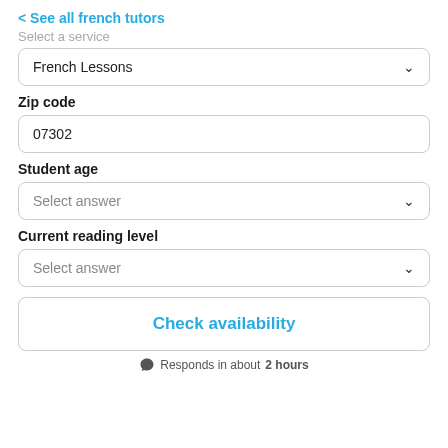< See all french tutors
Select a service
French Lessons
Zip code
07302
Student age
Select answer
Current reading level
Select answer
Check availability
Responds in about 2 hours